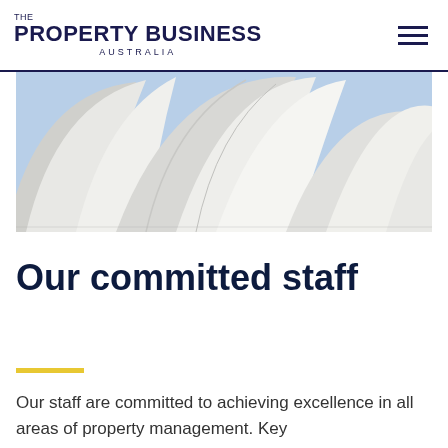THE PROPERTY BUSINESS AUSTRALIA
[Figure (photo): Close-up architectural photo of white curved shell-like roof panels of the Sydney Opera House against a blue sky]
Our committed staff
Our staff are committed to achieving excellence in all areas of property management. Key